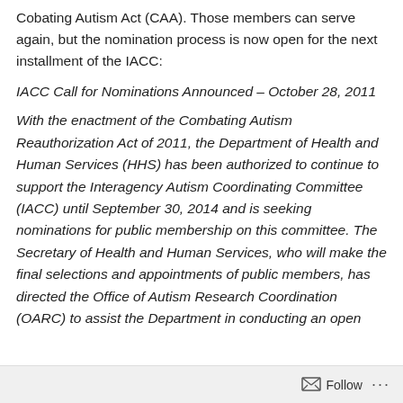Cobating Autism Act (CAA). Those members can serve again, but the nomination process is now open for the next installment of the IACC:
IACC Call for Nominations Announced – October 28, 2011
With the enactment of the Combating Autism Reauthorization Act of 2011, the Department of Health and Human Services (HHS) has been authorized to continue to support the Interagency Autism Coordinating Committee (IACC) until September 30, 2014 and is seeking nominations for public membership on this committee. The Secretary of Health and Human Services, who will make the final selections and appointments of public members, has directed the Office of Autism Research Coordination (OARC) to assist the Department in conducting an open
Follow